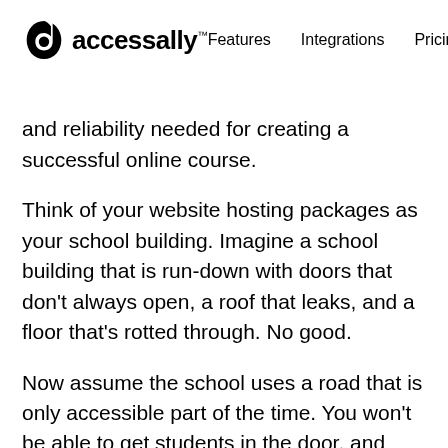accessally™  Features  Integrations  Pricing
and reliability needed for creating a successful online course.
Think of your website hosting packages as your school building. Imagine a school building that is run-down with doors that don't always open, a roof that leaks, and a floor that's rotted through. No good.
Now assume the school uses a road that is only accessible part of the time. You won't be able to get students in the door, and they won't be happy once they finally do arrive. That dilapidated school represents the same type of issue with poor website